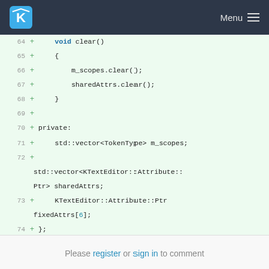KDE Menu
[Figure (screenshot): Code diff showing lines 64-76 of a C++ header file with added lines (+) on green background, including void clear(), m_scopes.clear(), sharedAttrs.clear(), private section, std::vector declarations, and #endif directive]
Please register or sign in to comment